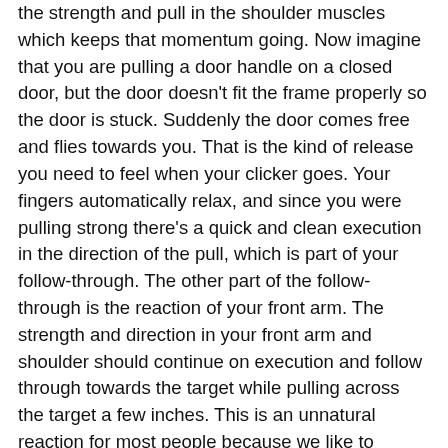the strength and pull in the shoulder muscles which keeps that momentum going. Now imagine that you are pulling a door handle on a closed door, but the door doesn't fit the frame properly so the door is stuck. Suddenly the door comes free and flies towards you. That is the kind of release you need to feel when your clicker goes. Your fingers automatically relax, and since you were pulling strong there's a quick and clean execution in the direction of the pull, which is part of your follow-through. The other part of the follow-through is the reaction of your front arm. The strength and direction in your front arm and shoulder should continue on execution and follow through towards the target while pulling across the target a few inches. This is an unnatural reaction for most people because we like to continue looking at the target the whole time, which is a great thing to do but we need to allow the bow to cross the picture of the target. Of course the head and body should be still on execution. Remember, the shot isn't finished until the arrow hits the target.
Naomi Folkard